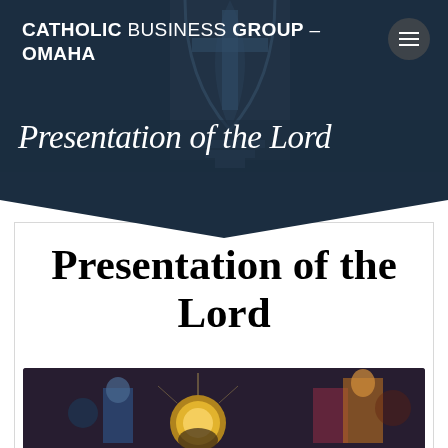CATHOLIC BUSINESS GROUP - OMAHA
Presentation of the Lord
Presentation of the Lord
[Figure (photo): Religious painting/icon partially visible at bottom of card, showing a figure with a golden halo surrounded by colorful imagery]